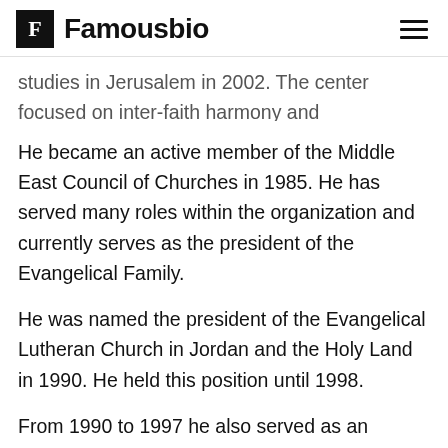Famousbio
studies in Jerusalem in 2002. The center focused on inter-faith harmony and cooperation.
He became an active member of the Middle East Council of Churches in 1985. He has served many roles within the organization and currently serves as the president of the Evangelical Family.
He was named the president of the Evangelical Lutheran Church in Jordan and the Holy Land in 1990. He held this position until 1998.
From 1990 to 1997 he also served as an adviser